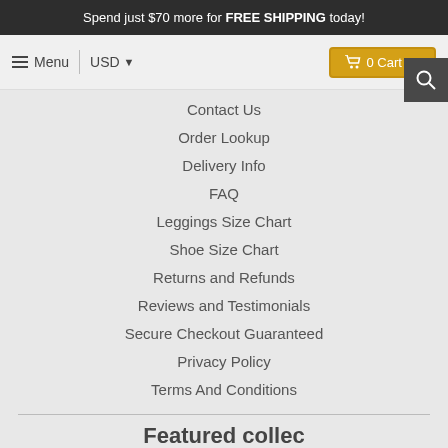Spend just $70 more for FREE SHIPPING today!
≡ Menu | USD ▾   🛒 0 Cart $0
Contact Us
Order Lookup
Delivery Info
FAQ
Leggings Size Chart
Shoe Size Chart
Returns and Refunds
Reviews and Testimonials
Secure Checkout Guaranteed
Privacy Policy
Terms And Conditions
Featured collections
Home
Best Selling